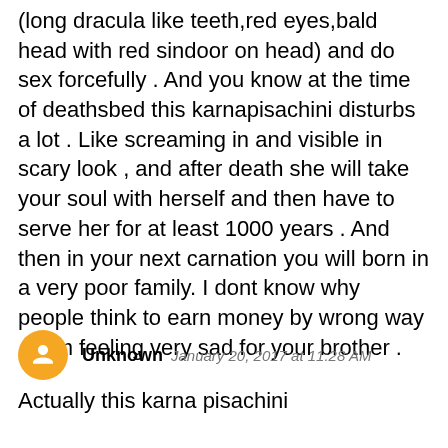(long dracula like teeth,red eyes,bald head with red sindoor on head) and do sex forcefully . And you know at the time of deathsbed this karnapisachini disturbs a lot . Like screaming in and visible in scary look , and after death she will take your soul with herself and then have to serve her for at least 1000 years . And then in your next carnation you will born in a very poor family. I dont know why people think to earn money by wrong way . I am feeling very sad for your brother .
Unknown  January 20, 2017 at 11:28 AM
Actually this karna pisachini